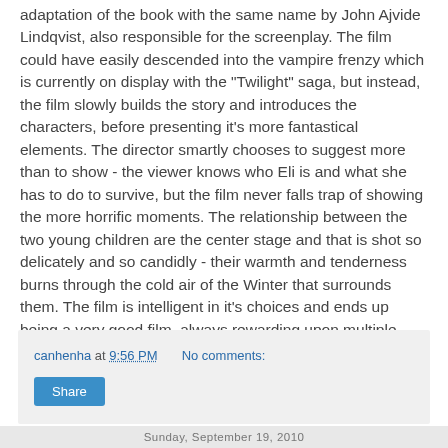adaptation of the book with the same name by John Ajvide Lindqvist, also responsible for the screenplay. The film could have easily descended into the vampire frenzy which is currently on display with the "Twilight" saga, but instead, the film slowly builds the story and introduces the characters, before presenting it's more fantastical elements. The director smartly chooses to suggest more than to show - the viewer knows who Eli is and what she has to do to survive, but the film never falls trap of showing the more horrific moments. The relationship between the two young children are the center stage and that is shot so delicately and so candidly - their warmth and tenderness burns through the cold air of the Winter that surrounds them. The film is intelligent in it's choices and ends up being a very good film, always rewarding upon multiple viewings.
canhenha at 9:56 PM    No comments:
Share
Sunday, September 19, 2010